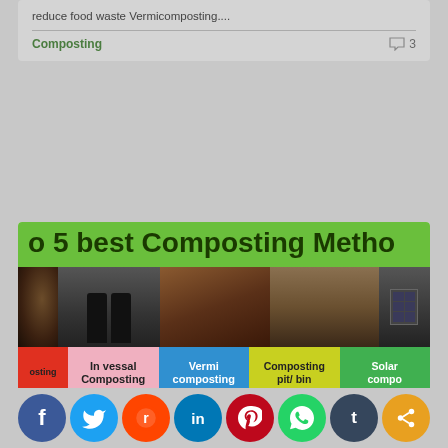reduce food waste Vermicomposting....
Composting
3
[Figure (infographic): Infographic showing top 5 best Composting Methods with photos of soil, bins, windrow, raised bed, and solar composter, plus label strip: In vessal Composting, Vermi composting, Composting pit/bin, Solar compo-. Bottom text: lich compost Methods you are using]
hich compost Methods you are using
[Figure (infographic): Social sharing buttons row: Facebook, Twitter, Reddit, LinkedIn, Pinterest, WhatsApp, Tumblr, Share]